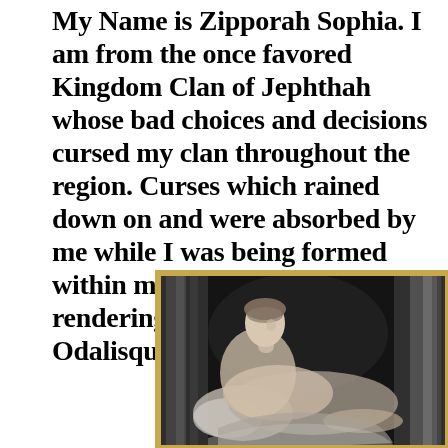My Name is Zipporah Sophia. I am from the once favored Kingdom Clan of Jephthah whose bad choices and decisions cursed my clan throughout the region. Curses which rained down on and were absorbed by me while I was being formed within my mother's womb rendering me a dismember Odalisque.
[Figure (illustration): A black and white classical painting of a reclining odalisque figure viewed from behind, with draped curtains on either side, framed with a gold/brown border.]